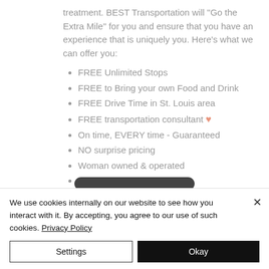treatment. BEST Transportation will "Go the Extra Mile" for you and ensure that you have an experience that is uniquely you. Here's what we can offer you:
FREE Unlimited Stops
FREE to Bring your own Food and Drink
FREE Drive Time in St. Louis area
FREE transportation consultant ♥
On time, EVERY time - Guaranteed
NO surprise pricing
Woman owned & operated
Expert bridal team
We use cookies internally on our website to see how you interact with it. By accepting, you agree to our use of such cookies. Privacy Policy
Settings | Okay